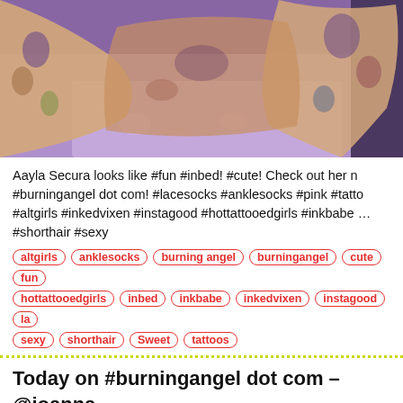[Figure (photo): Photo of a tattooed person lying on a purple/lilac bed with floral bedding, tattoos visible on arms and torso]
Aayla Secura looks like #fun #inbed! #cute! Check out her n… #burningangel dot com! #lacesocks #anklesocks #pink #tatto… #altgirls #inkedvixen #instagood #hottattooedgirls #inkbabe … #shorthair #sexy
altgirls
anklesocks
burning angel
burningangel
cute
fun
hottattooedgirls
inbed
inkbabe
inkedvixen
instagood
la
sexy
shorthair
Sweet
tattoos
Today on #burningangel dot com – @joanna… away…
7 YEARS  by AltPorn in BurningAngel, tattoo…